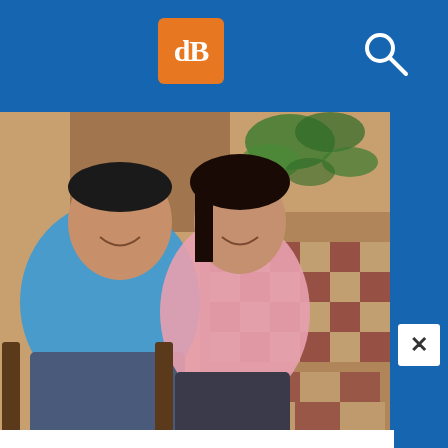dPS [logo] [search icon]
[Figure (photo): A man in a blue shirt and a woman in a pink shirt sitting together on wooden chairs in an outdoor/indoor tiled area with a plant in the background, both smiling.]
better. He looks bigger, which he is, and her is more flattering. At top of the article we talked about light he was turned away the church (light source) and had broad